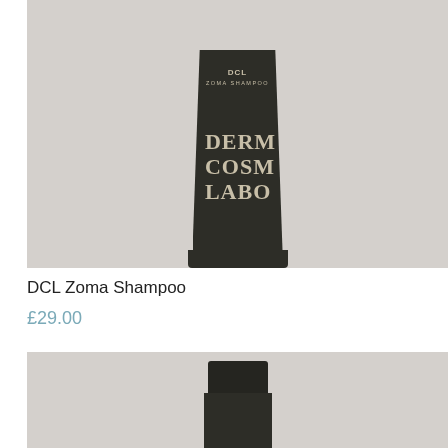[Figure (photo): Dark olive/charcoal colored shampoo bottle with 'DCL' and 'ZOMA SHAMPOO' text at top, and large serif text 'DERM COSM LABO' on the body, set against a light gray background]
DCL Zoma Shampoo
£29.00
[Figure (photo): Partial view of another dark cosmetic product bottle/container, cropped at bottom of page, set against light gray background]